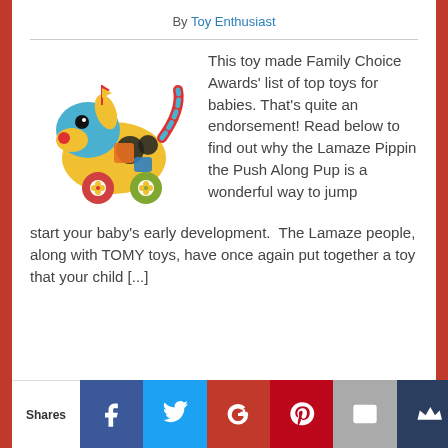By Toy Enthusiast
[Figure (photo): Colorful Lamaze Pippin the Push Along Pup toy — a stuffed dog with bright patterns, wheels, and a striped tail]
This toy made Family Choice Awards' list of top toys for babies. That's quite an endorsement! Read below to find out why the Lamaze Pippin the Push Along Pup is a wonderful way to jump start your baby's early development. The Lamaze people, along with TOMY toys, have once again put together a toy that your child [...]
Shares | Facebook | Twitter | Google+ | Pinterest | Email | Bookmark